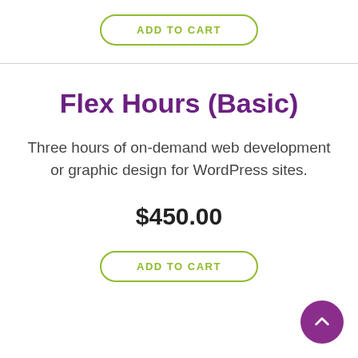ADD TO CART
Flex Hours (Basic)
Three hours of on-demand web development or graphic design for WordPress sites.
$450.00
ADD TO CART